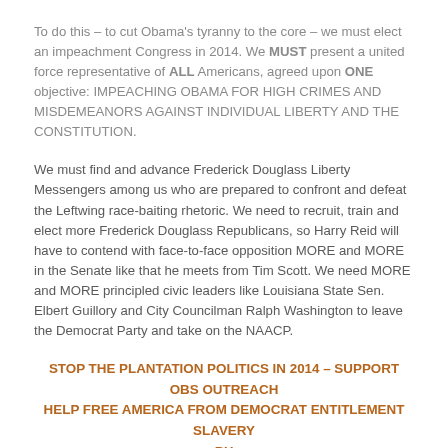To do this – to cut Obama's tyranny to the core – we must elect an impeachment Congress in 2014. We MUST present a united force representative of ALL Americans, agreed upon ONE objective: IMPEACHING OBAMA FOR HIGH CRIMES AND MISDEMEANORS AGAINST INDIVIDUAL LIBERTY AND THE CONSTITUTION.
We must find and advance Frederick Douglass Liberty Messengers among us who are prepared to confront and defeat the Leftwing race-baiting rhetoric. We need to recruit, train and elect more Frederick Douglass Republicans, so Harry Reid will have to contend with face-to-face opposition MORE and MORE in the Senate like that he meets from Tim Scott. We need MORE and MORE principled civic leaders like Louisiana State Sen. Elbert Guillory and City Councilman Ralph Washington to leave the Democrat Party and take on the NAACP.
STOP THE PLANTATION POLITICS IN 2014 – SUPPORT OBS OUTREACH
HELP FREE AMERICA FROM DEMOCRAT ENTITLEMENT SLAVERY
BY